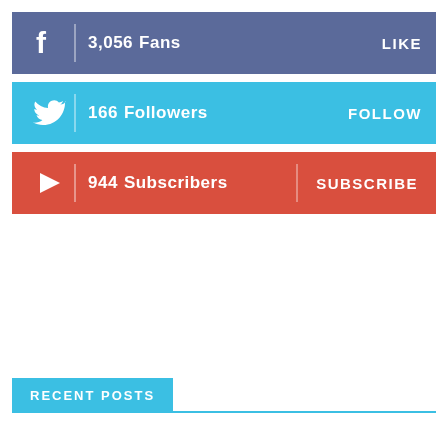f  3,056  Fans  LIKE
166  Followers  FOLLOW
944  Subscribers  SUBSCRIBE
RECENT POSTS